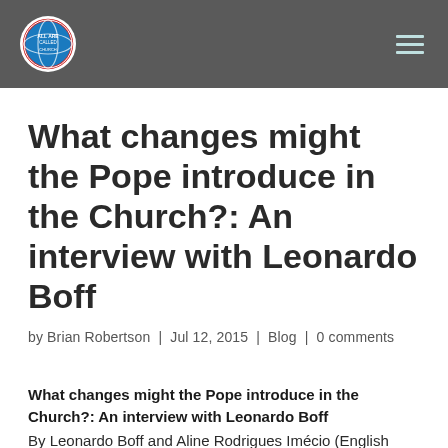[Logo] [Navigation hamburger menu]
What changes might the Pope introduce in the Church?: An interview with Leonardo Boff
by Brian Robertson | Jul 12, 2015 | Blog | 0 comments
What changes might the Pope introduce in the Church?: An interview with Leonardo Boff
By Leonardo Boff and Aline Rodrigues Imécio (English translation by Rebel Girl)